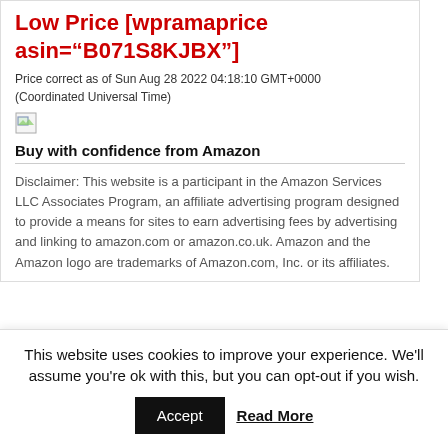Low Price [wpramaprice asin="B071S8KJBX"]
Price correct as of Sun Aug 28 2022 04:18:10 GMT+0000 (Coordinated Universal Time)
[Figure (other): Broken image placeholder icon]
Buy with confidence from Amazon
Disclaimer: This website is a participant in the Amazon Services LLC Associates Program, an affiliate advertising program designed to provide a means for sites to earn advertising fees by advertising and linking to amazon.com or amazon.co.uk. Amazon and the Amazon logo are trademarks of Amazon.com, Inc. or its affiliates.
This website uses cookies to improve your experience. We'll assume you're ok with this, but you can opt-out if you wish.
Accept   Read More